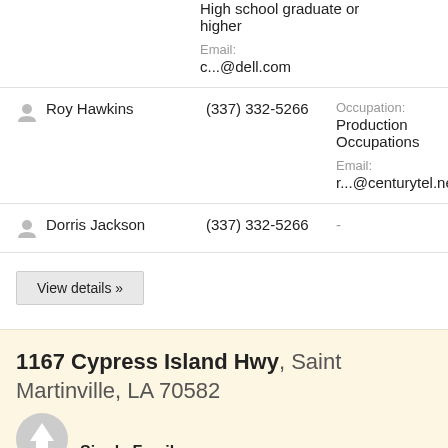High school graduate or higher
Email: c...@dell.com
Roy Hawkins  (337) 332-5266  Occupation: Production Occupations  Email: r...@centurytel.net
Dorris Jackson  (337) 332-5266  -
View details »
1167 Cypress Island Hwy, Saint Martinville, LA 70582
Single Family